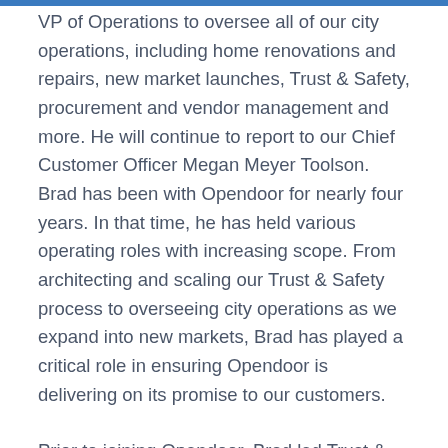VP of Operations to oversee all of our city operations, including home renovations and repairs, new market launches, Trust & Safety, procurement and vendor management and more. He will continue to report to our Chief Customer Officer Megan Meyer Toolson. Brad has been with Opendoor for nearly four years. In that time, he has held various operating roles with increasing scope. From architecting and scaling our Trust & Safety process to overseeing city operations as we expand into new markets, Brad has played a critical role in ensuring Opendoor is delivering on its promise to our customers.
Prior to joining Opendoor, Brad led Trust & Safety Operations at Airbnb, where he helped